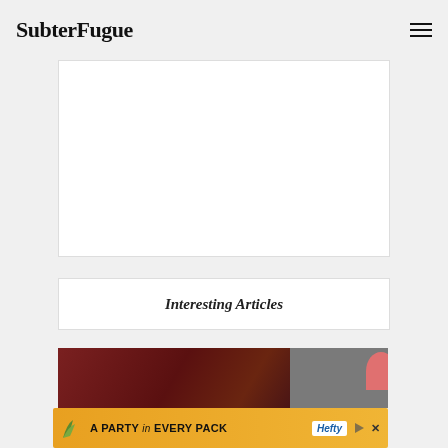SubterFugue
[Figure (other): White advertisement placeholder box]
Interesting Articles
[Figure (photo): Article thumbnail image showing a dark red medieval/historical scene on the left and gray area on the right, with a partial circular element at far right]
[Figure (other): Bottom banner advertisement: A PARTY in EVERY PACK — Hefty brand ad with orange gradient background, arc logo, play and close controls]